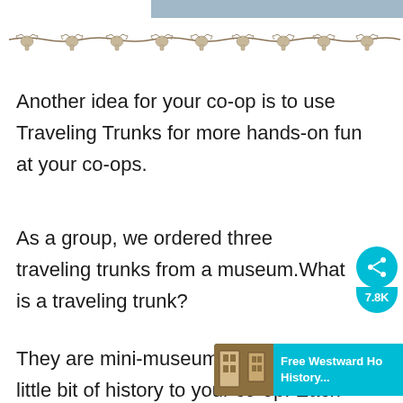[Figure (illustration): Decorative border of longhorn skulls on a rope/wire, used as a section divider]
Another idea for your co-op is to use Traveling Trunks for more hands-on fun at your co-ops.
As a group, we ordered three traveling trunks from a museum.What is a traveling trunk?
They are mini-museums bringing a little bit of history to your co-op. Each trunk contains a variety of